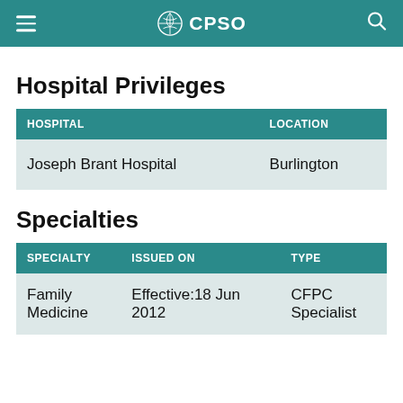CPSO
Hospital Privileges
| HOSPITAL | LOCATION |
| --- | --- |
| Joseph Brant Hospital | Burlington |
Specialties
| SPECIALTY | ISSUED ON | TYPE |
| --- | --- | --- |
| Family Medicine | Effective: 18 Jun 2012 | CFPC Specialist |